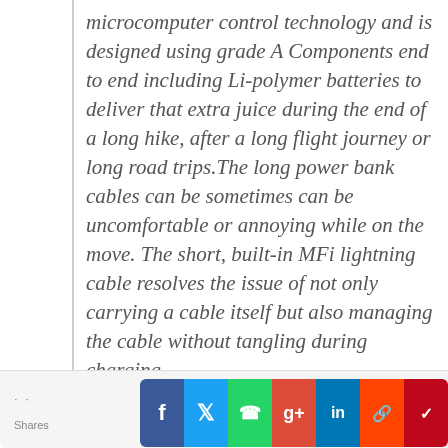microcomputer control technology and is designed using grade A Components end to end including Li-polymer batteries to deliver that extra juice during the end of a long hike, after a long flight journey or long road trips.The long power bank cables can be sometimes can be uncomfortable or annoying while on the move. The short, built-in MFi lightning cable resolves the issue of not only carrying a cable itself but also managing the cable without tangling during charging.
Shares .. [social share buttons: Facebook, Twitter, WhatsApp, Google+, LinkedIn, Reddit, Pinterest]